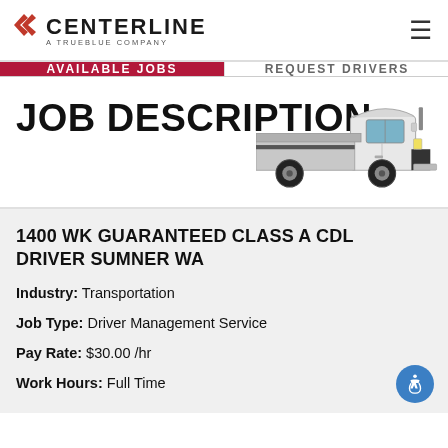CENTERLINE A TRUEBLUE COMPANY
AVAILABLE JOBS
REQUEST DRIVERS
JOB DESCRIPTION
[Figure (illustration): Illustration of a white flatbed truck on the right side of the page header]
1400 WK GUARANTEED CLASS A CDL DRIVER SUMNER WA
Industry: Transportation
Job Type: Driver Management Service
Pay Rate: $30.00 /hr
Work Hours: Full Time